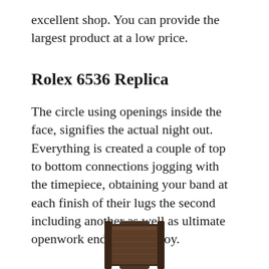excellent shop. You can provide the largest product at a low price.
Rolex 6536 Replica
The circle using openings inside the face, signifies the actual night out. Everything is created a couple of top to bottom connections jogging with the timepiece, obtaining your band at each finish of their lugs the second including another as well as ultimate openwork end for the enjoy.
[Figure (photo): Partial image of a Rolex watch with dark brown/black leather strap showing at the bottom of the page]